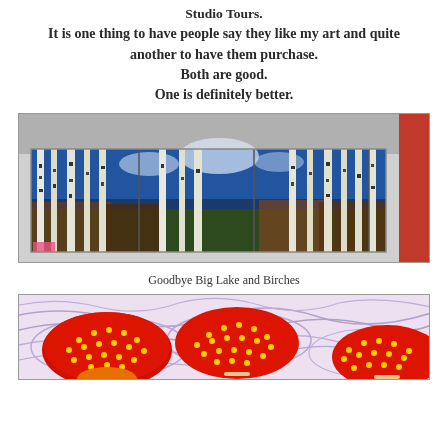Studio Tours.
It is one thing to have people say they like my art and quite another to have them purchase.
Both are good.
One is definitely better.
[Figure (photo): A large panoramic painting of birch trees in a forest with blue sky background, displayed as a multi-panel triptych or polyptych artwork hanging on a wall.]
Goodbye Big Lake and Birches
[Figure (photo): A colorful painting featuring large red mushroom-like circular forms with yellow dots on a light purple/white background with flowing curved lines.]